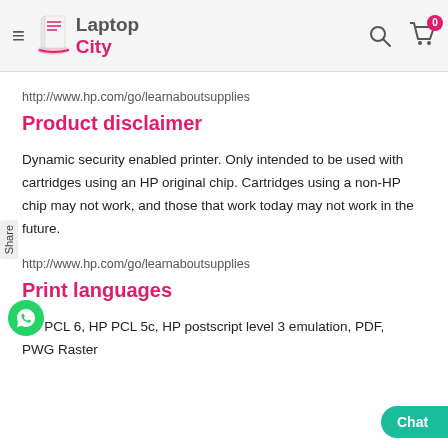[Figure (logo): Laptop City logo with book icon, hamburger menu, search icon, and cart icon with badge 0]
http://www.hp.com/go/learnaboutsupplies
Product disclaimer
Dynamic security enabled printer. Only intended to be used with cartridges using an HP original chip. Cartridges using a non-HP chip may not work, and those that work today may not work in the future.
http://www.hp.com/go/learnaboutsupplies
Print languages
HP PCL 6, HP PCL 5c, HP postscript level 3 emulation, PDF, PWG Raster